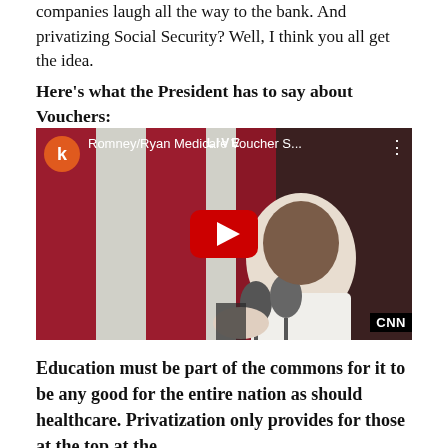companies laugh all the way to the bank. And privatizing Social Security? Well, I think you all get the idea.
Here's what the President has to say about Vouchers:
[Figure (screenshot): YouTube video embed showing a CNN live video titled 'Romney/Ryan Medicare Voucher S...' featuring a person speaking at a podium with microphones, with a red/white striped background. A large YouTube play button is visible in the center. Channel icon shows letter 'k' in orange circle.]
Education must be part of the commons for it to be any good for the entire nation as should healthcare. Privatization only provides for those at the top at the